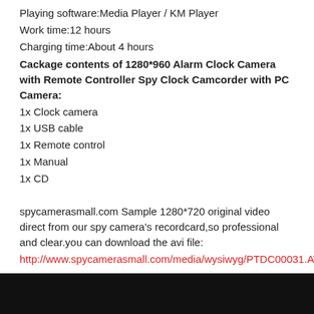Playing software:Media Player / KM Player
Work time:12 hours
Charging time:About 4 hours
Cackage contents of 1280*960 Alarm Clock Camera with Remote Controller Spy Clock Camcorder with PC Camera:
1x Clock camera
1x USB cable
1x Remote control
1x Manual
1x CD
spycamerasmall.com Sample 1280*720 original video direct from our spy camera's recordcard,so professional and clear.you can download the avi file:
http://www.spycamerasmall.com/media/wysiwyg/PTDC00031.AVI
.
You'd better change the video quality to 720P HD.
[Figure (photo): Black bar at bottom, partial video player screenshot]